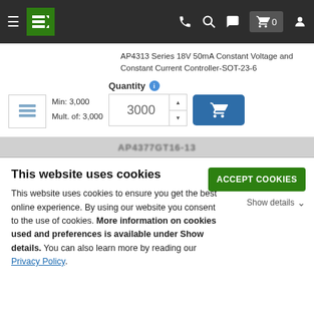AP4313 Series 18V 50mA Constant Voltage and Constant Current Controller-SOT-23-6
Min: 3,000
Mult. of: 3,000
Quantity
3000
This website uses cookies
This website uses cookies to ensure you get the best online experience. By using our website you consent to the use of cookies. More information on cookies used and preferences is available under Show details. You can also learn more by reading our Privacy Policy.